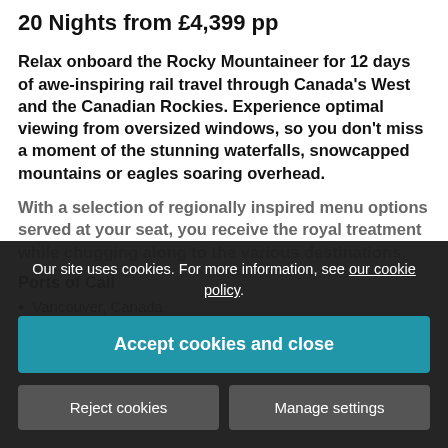20 Nights from £4,399 pp
Relax onboard the Rocky Mountaineer for 12 days of awe-inspiring rail travel through Canada's West and the Canadian Rockies. Experience optimal viewing from oversized windows, so you don't miss a moment of the stunning waterfalls, snowcapped mountains or eagles soaring overhead.
With a selection of regionally inspired menu options served at your seat, you receive the royal treatment while chugging along to the various destinations.
Ports of Call
Vancouver, Canada
Scenic cruising
Tracy Arm Inlet
Our site uses cookies. For more information, see our cookie policy.
Accept cookies and close
Reject cookies
Manage settings